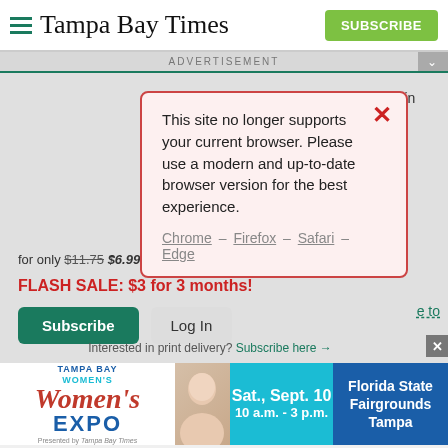Tampa Bay Times
ADVERTISEMENT
[Figure (screenshot): Browser compatibility warning modal popup with red border on pink background, showing message: This site no longer supports your current browser. Please use a modern and up-to-date browser version for the best experience. Chrome – Firefox – Safari – Edge]
for only $11.75 $6.99 for the first month.
FLASH SALE: $3 for 3 months!
Subscribe   Log In
Interested in print delivery? Subscribe here →
[Figure (screenshot): Tampa Bay Women's Expo advertisement banner - Sat., Sept. 10 10 a.m. - 3 p.m. Florida State Fairgrounds Tampa]